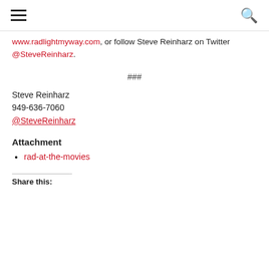[hamburger menu] [search icon]
www.radlightmyway.com, or follow Steve Reinharz on Twitter @SteveReinharz.
###
Steve Reinharz
949-636-7060
@SteveReinharz
Attachment
rad-at-the-movies
Share this: